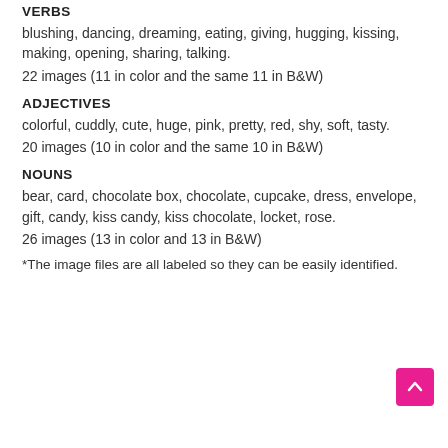VERBS
blushing, dancing, dreaming, eating, giving, hugging, kissing, making, opening, sharing, talking.
22 images (11 in color and the same 11 in B&W)
ADJECTIVES
colorful, cuddly, cute, huge, pink, pretty, red, shy, soft, tasty.
20 images (10 in color and the same 10 in B&W)
NOUNS
bear, card, chocolate box, chocolate, cupcake, dress, envelope, gift, candy, kiss candy, kiss chocolate, locket, rose.
26 images (13 in color and 13 in B&W)
*The image files are all labeled so they can be easily identified.